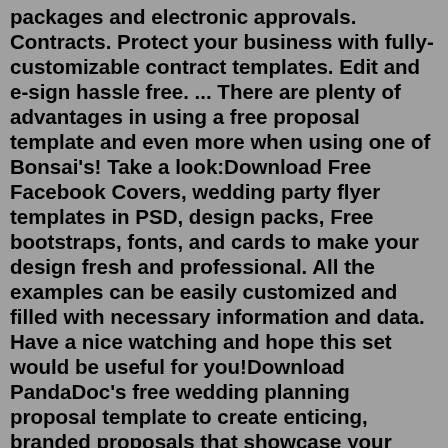packages and electronic approvals. Contracts. Protect your business with fully-customizable contract templates. Edit and e-sign hassle free. ... There are plenty of advantages in using a free proposal template and even more when using one of Bonsai's! Take a look:Download Free Facebook Covers, wedding party flyer templates in PSD, design packs, Free bootstraps, fonts, and cards to make your design fresh and professional. All the examples can be easily customized and filled with necessary information and data. Have a nice watching and hope this set would be useful for you!Download PandaDoc's free wedding planning proposal template to create enticing, branded proposals that showcase your wedding services and packages. PandaDoc TemplatesFree Wedding Invitation Templates. Free Wedding Invite and Save the Date Templates from Love & Lavender. Printable Invitation Kits. Free Invite Template Downloads. ... Each city offers a different package of locations you can visit for one price instead of paying individual admission prices. Check out CityPass